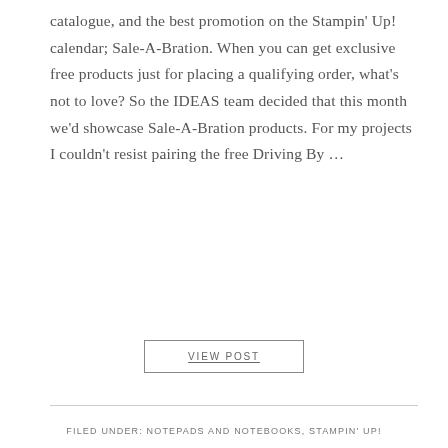catalogue, and the best promotion on the Stampin' Up! calendar; Sale-A-Bration. When you can get exclusive free products just for placing a qualifying order, what's not to love? So the IDEAS team decided that this month we'd showcase Sale-A-Bration products. For my projects I couldn't resist pairing the free Driving By …
VIEW POST
FILED UNDER: NOTEPADS AND NOTEBOOKS, STAMPIN' UP!